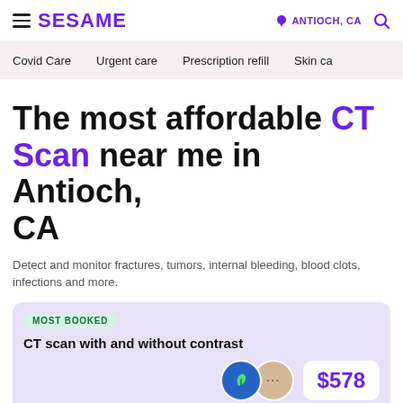SESAME — ANTIOCH, CA
Covid Care   Urgent care   Prescription refill   Skin care
The most affordable CT Scan near me in Antioch, CA
Detect and monitor fractures, tumors, internal bleeding, blood clots, infections and more.
MOST BOOKED
CT scan with and without contrast
$578